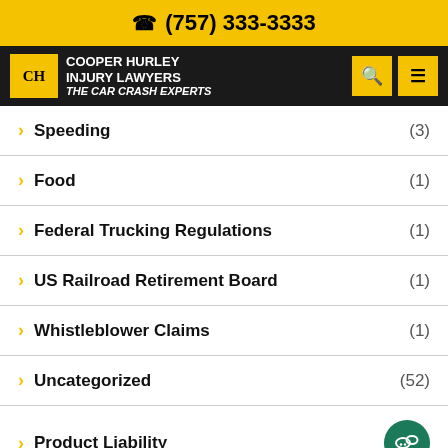(757) 333-3333
COOPER HURLEY INJURY LAWYERS THE CAR CRASH EXPERTS
Speeding (3)
Food (1)
Federal Trucking Regulations (1)
US Railroad Retirement Board (1)
Whistleblower Claims (1)
Uncategorized (52)
Product Liability
Food Poisoning (1)